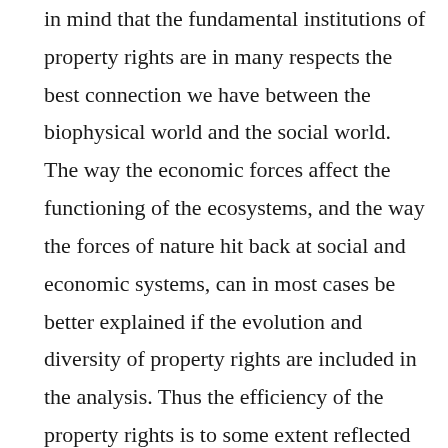in mind that the fundamental institutions of property rights are in many respects the best connection we have between the biophysical world and the social world. The way the economic forces affect the functioning of the ecosystems, and the way the forces of nature hit back at social and economic systems, can in most cases be better explained if the evolution and diversity of property rights are included in the analysis. Thus the efficiency of the property rights is to some extent reflected in the fate of the resources in question and in their sustainable or unsustainable use (North 1990). When the indigenous land claims processes result in changes in fundamental ownership structures, the success of the settlements in creating effective institutions can thus be measured with the